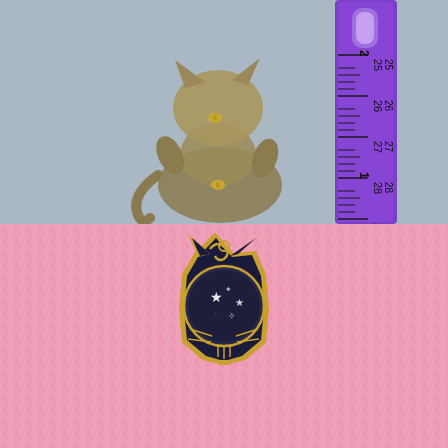[Figure (photo): Top half: product photo on light blue-gray background showing the back/underside of a gold glitter cat-shaped enamel pin with two gold butterfly clutch backings and a purple ruler beside it showing measurements from approximately 25 to 30 cm.]
[Figure (photo): Bottom half: product photo on pink fluffy/furry background showing the front of a dark navy blue enamel pin shaped like a cat face with gold outlines, celestial/space decorations including stars and a large circular moon motif on a black background.]